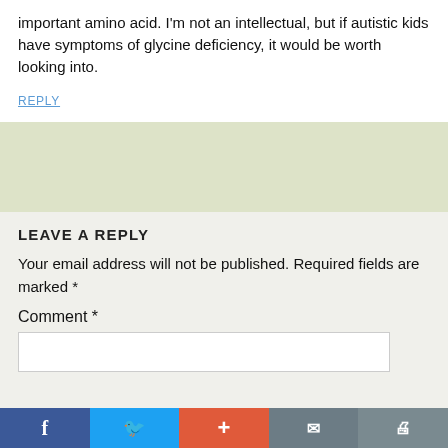important amino acid. I'm not an intellectual, but if autistic kids have symptoms of glycine deficiency, it would be worth looking into.
REPLY
[Figure (other): Light green/beige advertisement or image block]
LEAVE A REPLY
Your email address will not be published. Required fields are marked *
Comment *